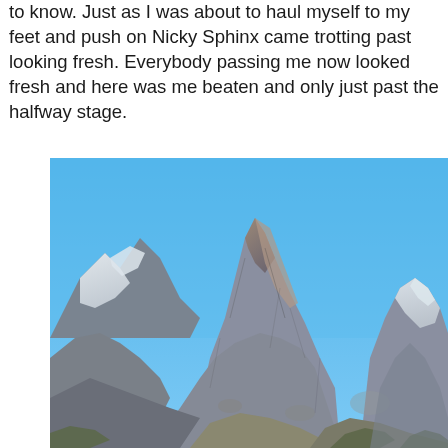to know. Just as I was about to haul myself to my feet and push on Nicky Sphinx came trotting past looking fresh. Everybody passing me now looked fresh and here was me beaten and only just past the halfway stage.
[Figure (photo): Alpine mountain landscape with jagged rocky peaks, snow-capped summits on left and right, blue sky, and rocky slopes with sparse vegetation in the foreground.]